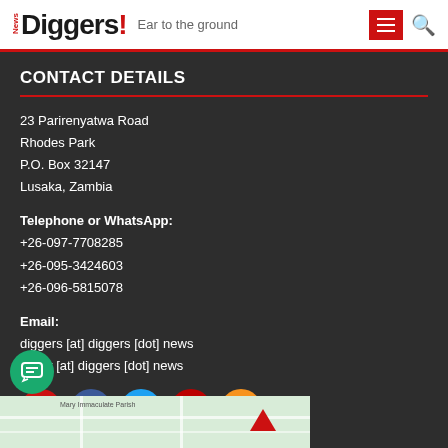News Diggers! Ear to the ground
CONTACT DETAILS
23 Parirenyatwa Road
Rhodes Park
P.O. Box 32147
Lusaka, Zambia
Telephone or WhatsApp:
+26-097-7708285
+26-095-3424603
+26-096-5815078
Email:
diggers [at] diggers [dot] news
editor [at] diggers [dot] news
[Figure (infographic): Row of social media icons: email (red), Facebook (blue), Twitter (light blue), YouTube (red), RSS (orange). Green chat bubble icon bottom left. Google Maps thumbnail at bottom.]